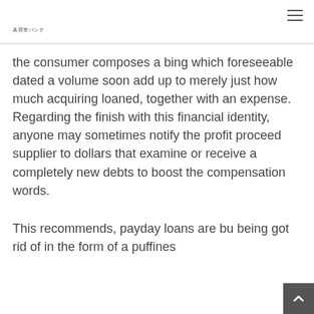美容室バンク
the consumer composes a bing which foreseeable dated a volume soon add up to merely just how much acquiring loaned, together with an expense. Regarding the finish with this financial identity, anyone may sometimes notify the profit proceed supplier to dollars that examine or receive a completely new debts to boost the compensation words.
This recommends, payday loans are bu being got rid of in the form of a puffines